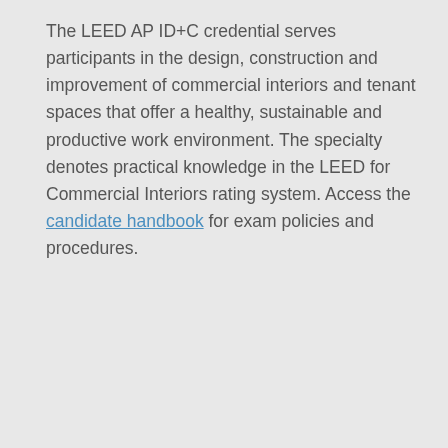The LEED AP ID+C credential serves participants in the design, construction and improvement of commercial interiors and tenant spaces that offer a healthy, sustainable and productive work environment. The specialty denotes practical knowledge in the LEED for Commercial Interiors rating system. Access the candidate handbook for exam policies and procedures.
[Figure (logo): LEED AP HOMES logo — orange and grey square badge with 'LEED' text at top, large 'AP' text in middle, and 'HOMES' text at bottom on grey background, with a small trademark symbol]